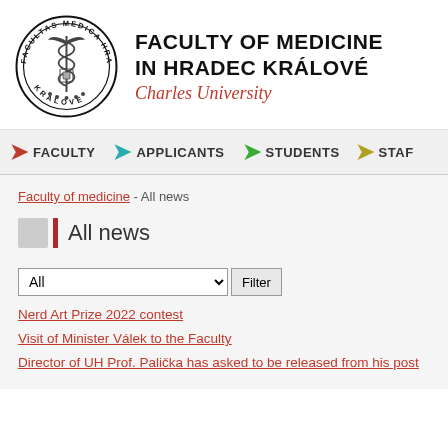[Figure (logo): Circular seal/logo of Facultas Medica Hradec Králové with snake and medical symbols]
FACULTY OF MEDICINE IN HRADEC KRÁLOVÉ
Charles University
FACULTY
APPLICANTS
STUDENTS
STAFF
Faculty of medicine - All news
All news
All
Nerd Art Prize 2022 contest
Visit of Minister Válek to the Faculty
Director of UH Prof. Palička has asked to be released from his post